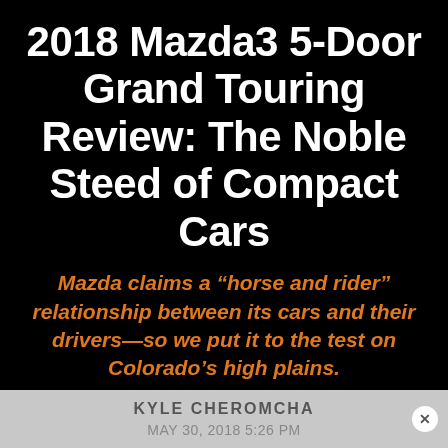2018 Mazda3 5-Door Grand Touring Review: The Noble Steed of Compact Cars
Mazda claims a “horse and rider” relationship between its cars and their drivers—so we put it to the test on Colorado’s high plains.
BY
KYLE CHEROMCHA
MAY 30, 2018 5:26 PM